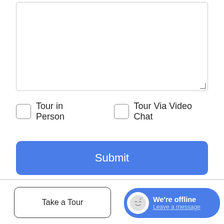[Figure (screenshot): Empty textarea input box with resize handle in bottom right corner]
Tour in Person
Tour Via Video Chat
Submit
Disclaimer: By entering your information and submitting this form, you agree to our Terms of Use and Privacy Policy and that you may be contacted by phone, text message and email about your inquiry.
The property listing data and information set forth herein were provided to MLS Property Information Network, Inc. from third party sources, including sellers, lessors and public records, and were compiled by MLS Property Information Network, Inc. The
Take a Tour
We're offline
Leave a message